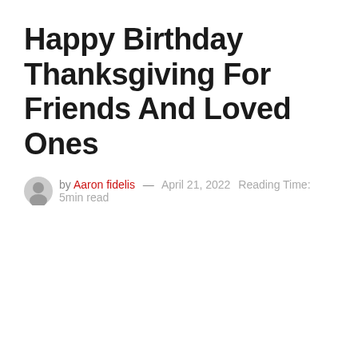Happy Birthday Thanksgiving For Friends And Loved Ones
by Aaron fidelis — April 21, 2022  Reading Time: 5min read